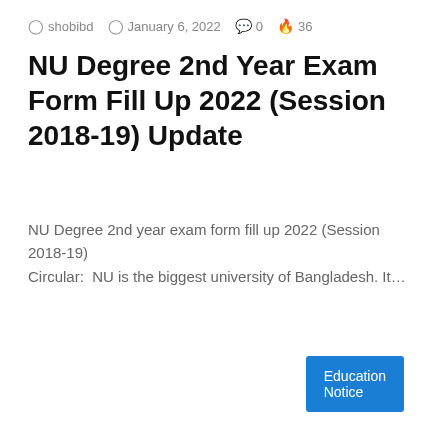shobibd  January 6, 2022  0  36
NU Degree 2nd Year Exam Form Fill Up 2022 (Session 2018-19) Update
NU Degree 2nd year exam form fill up 2022 (Session 2018-19) Circular:  NU is the biggest university of Bangladesh. It…
Read More »
Education Notice